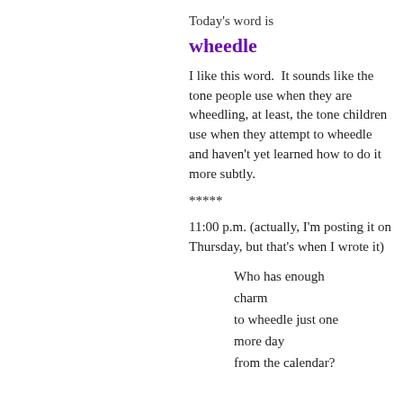Today's word is
wheedle
I like this word.  It sounds like the tone people use when they are wheedling, at least, the tone children use when they attempt to wheedle and haven't yet learned how to do it more subtly.
*****
11:00 p.m. (actually, I'm posting it on Thursday, but that's when I wrote it)
Who has enough charm
to wheedle just one
more day
from the calendar?